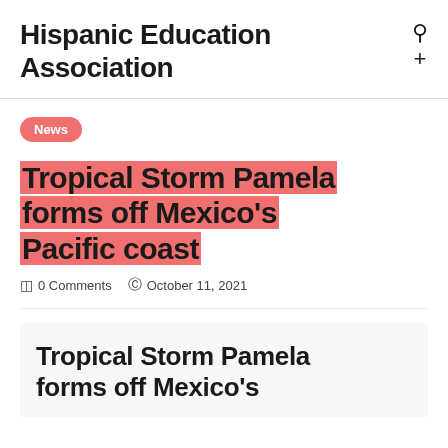Hispanic Education Association
News
Tropical Storm Pamela forms off Mexico's Pacific coast
0 Comments   October 11, 2021
Tropical Storm Pamela forms off Mexico's